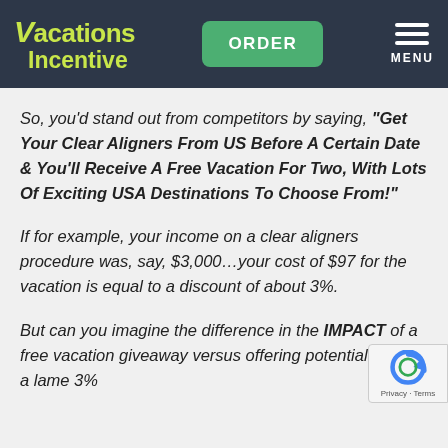Vacations Incentive | ORDER | MENU
So, you'd stand out from competitors by saying, "Get Your Clear Aligners From US Before A Certain Date & You'll Receive A Free Vacation For Two, With Lots Of Exciting USA Destinations To Choose From!"
If for example, your income on a clear aligners procedure was, say, $3,000…your cost of $97 for the vacation is equal to a discount of about 3%.
But can you imagine the difference in the IMPACT of a free vacation giveaway versus offering potential clients a lame 3%